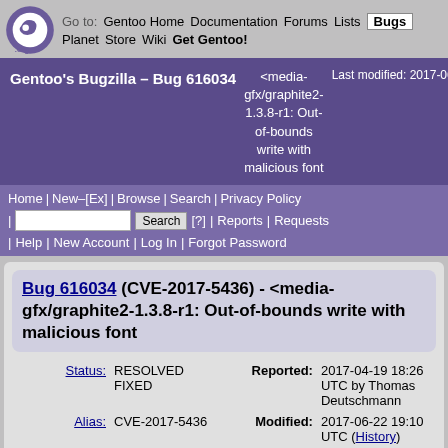Go to: Gentoo Home Documentation Forums Lists Bugs Planet Store Wiki Get Gentoo!
Gentoo's Bugzilla – Bug 616034 <media-gfx/graphite2-1.3.8-r1: Out-of-bounds write with malicious font Last modified: 2017-06-
Home | New–[Ex] | Browse | Search | Privacy Policy | Search [?] | Reports | Requests | Help | New Account | Log In | Forgot Password
Bug 616034 (CVE-2017-5436) - <media-gfx/graphite2-1.3.8-r1: Out-of-bounds write with malicious font
| Field | Value | Field | Value |
| --- | --- | --- | --- |
| Status: | RESOLVED FIXED | Reported: | 2017-04-19 18:26 UTC by Thomas Deutschmann |
| Alias: | CVE-2017-5436 | Modified: | 2017-06-22 19:10 UTC (History) |
| Product: | Gentoo Security | CC List: | 0 users |